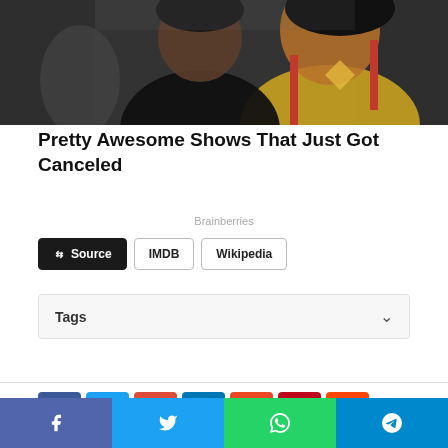[Figure (photo): Photo of TV show cast members — a man in a black shirt and a woman in a yellow waitress uniform with red trim]
Pretty Awesome Shows That Just Got Canceled
Brainberries
Source | IMDB | Wikipedia (buttons)
Tags (collapsible section with chevron)
Social share buttons: Facebook, Twitter, Google+, LinkedIn, StumbleUpon, Pinterest, Reddit
Bottom bar: Facebook, Twitter, WhatsApp, Telegram share buttons